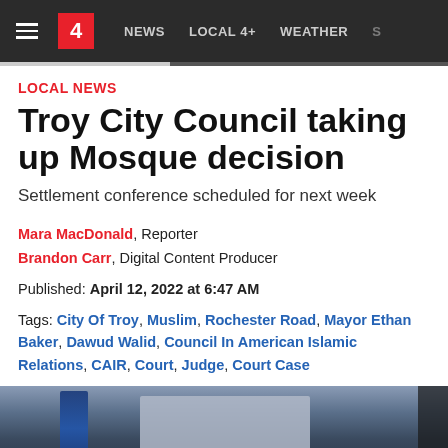≡  4  NEWS  LOCAL 4+  WEATHER
LOCAL NEWS
Troy City Council taking up Mosque decision
Settlement conference scheduled for next week
Mara MacDonald, Reporter
Brandon Carr, Digital Content Producer
Published: April 12, 2022 at 6:47 AM
Tags: City Of Troy, Muslim, Rochester Road, Mayor Ethan Baker, Dawud Walid, Council In American Islamic Relations, CAIR, Court, Judge, Court Case
[Figure (photo): Photo of a person at a council meeting with a screen visible in the background]